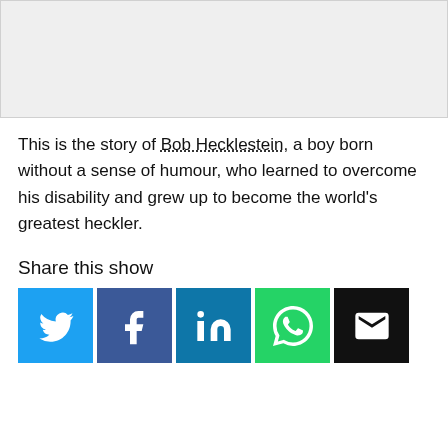[Figure (other): Gray placeholder image area at top of page]
This is the story of Bob Hecklestein, a boy born without a sense of humour, who learned to overcome his disability and grew up to become the world's greatest heckler.
Share this show
[Figure (infographic): Row of five social sharing icon buttons: Twitter (blue bird), Facebook (blue f), LinkedIn (blue in), WhatsApp (green speech bubble), Email (black envelope)]